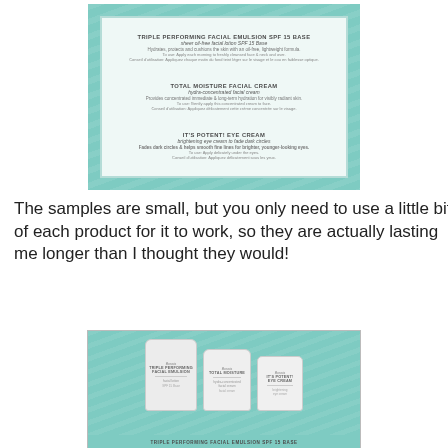[Figure (photo): A photo of a teal/turquoise patterned card with product descriptions for facial skincare samples: Triple Performing Facial Emulsion SPF 15, Total Moisture Facial Cream, and It's Potent! Eye Cream.]
The samples are small, but you only need to use a little bit of each product for it to work, so they are actually lasting me longer than I thought they would!
[Figure (photo): A photo of three white foil sample packets laid on a teal patterned surface, with a caption at the bottom reading TRIPLE PERFORMING FACIAL EMULSION SPF 15 Base.]